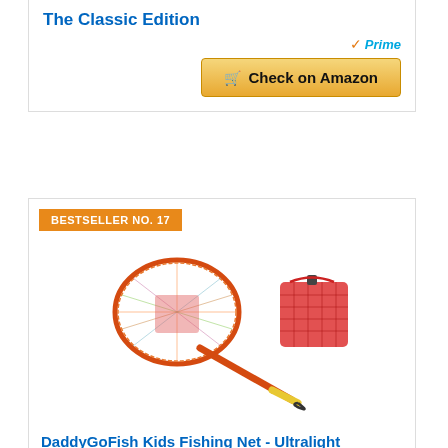The Classic Edition
[Figure (screenshot): Amazon Prime badge with checkmark and Prime text in blue]
[Figure (screenshot): Check on Amazon button with shopping cart icon, gold/yellow gradient background]
BESTSELLER NO. 17
[Figure (photo): DaddyGoFish Kids Fishing Net - orange/red telescopic landing net with a red mesh bait pouch bag, shown extended with yellow handle tip]
DaddyGoFish Kids Fishing Net - Ultralight Telescopic Landing Net Bait Pouch for Catching Fish Frog...
[Figure (screenshot): Amazon Prime badge at bottom of card]